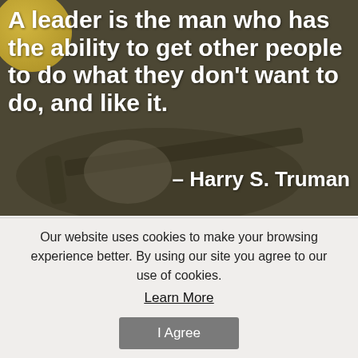[Figure (photo): Background photo of a person holding/aiming a rifle with a bipod, in muted olive/sepia tones, with a large bold white quote overlaid: 'A leader is the man who has the ability to get other people to do what they don't want to do, and like it.' attributed to Harry S. Truman]
Our website uses cookies to make your browsing experience better. By using our site you agree to our use of cookies.
Learn More
I Agree